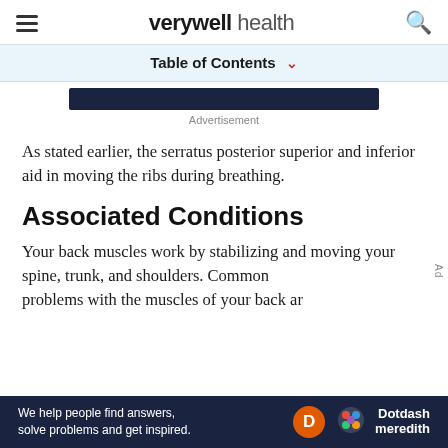verywell health
Table of Contents
Advertisement
As stated earlier, the serratus posterior superior and inferior aid in moving the ribs during breathing.
Associated Conditions
Your back muscles work by stabilizing and moving your spine, trunk, and shoulders. Common problems with the muscles of your back ar
[Figure (other): Dotdash Meredith bottom advertisement banner with text: We help people find answers, solve problems and get inspired.]